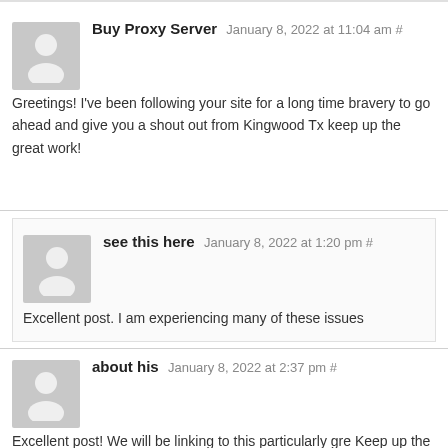Buy Proxy Server January 8, 2022 at 11:04 am # Greetings! I've been following your site for a long time bravery to go ahead and give you a shout out from Kingwood Tx keep up the great work!
see this here January 8, 2022 at 1:20 pm # Excellent post. I am experiencing many of these issues
about his January 8, 2022 at 2:37 pm # Excellent post! We will be linking to this particularly gre Keep up the good writing.